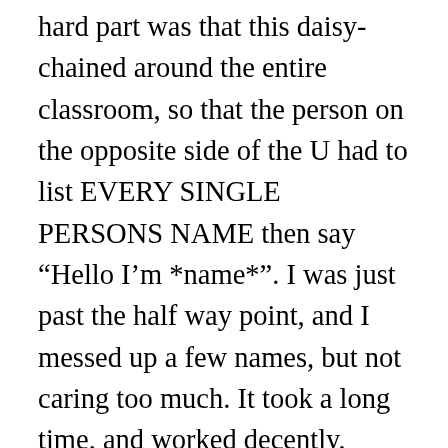hard part was that this daisy-chained around the entire classroom, so that the person on the opposite side of the U had to list EVERY SINGLE PERSONS NAME then say “Hello I’m *name*”. I was just past the half way point, and I messed up a few names, but not caring too much. It took a long time, and worked decently, though it was a little juvenile. The fun part was when the first person, who only had to say their name, was suddenly called to task at the very end and had to list everyone’s name, he must have been expecting it because he did better than anyone. After that we “interviewed” each other, but I was sitting next to a guy from Switzerland I already knew, so that was a non-issue. Its going to be a class